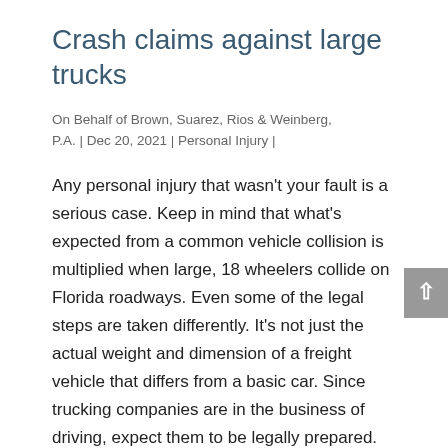Crash claims against large trucks
On Behalf of Brown, Suarez, Rios & Weinberg, P.A. | Dec 20, 2021 | Personal Injury |
Any personal injury that wasn't your fault is a serious case. Keep in mind that what's expected from a common vehicle collision is multiplied when large, 18 wheelers collide on Florida roadways. Even some of the legal steps are taken differently. It's not just the actual weight and dimension of a freight vehicle that differs from a basic car. Since trucking companies are in the business of driving, expect them to be legally prepared.
The investigation